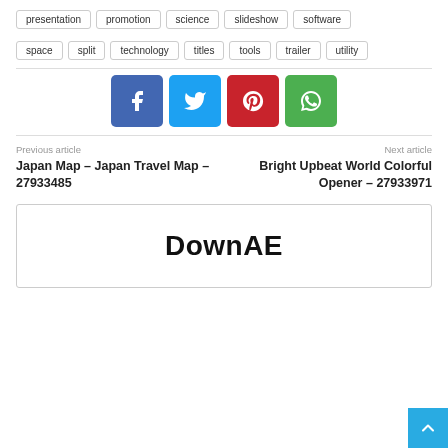presentation
promotion
science
slideshow
software
space
split
technology
titles
tools
trailer
utility
[Figure (infographic): Social share buttons: Facebook (blue), Twitter (light blue), Pinterest (red), WhatsApp (green)]
Previous article
Japan Map – Japan Travel Map – 27933485
Next article
Bright Upbeat World Colorful Opener – 27933971
DownAE